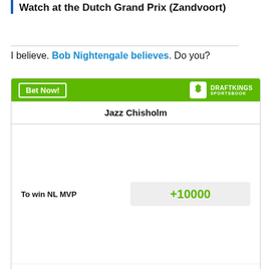Watch at the Dutch Grand Prix (Zandvoort)
I believe. Bob Nightengale believes. Do you?
[Figure (other): DraftKings Sportsbook betting widget showing Jazz Chisholm to win NL MVP at +10000 odds, with a green header containing a 'Bet Now!' button and DraftKings Sportsbook logo.]
Odds/Lines subject to change. See draftkings.com for details.